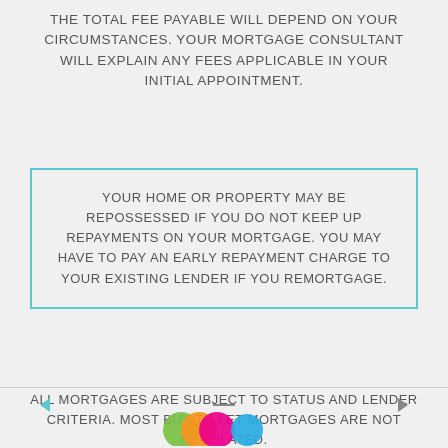THE TOTAL FEE PAYABLE WILL DEPEND ON YOUR CIRCUMSTANCES. YOUR MORTGAGE CONSULTANT WILL EXPLAIN ANY FEES APPLICABLE IN YOUR INITIAL APPOINTMENT.
YOUR HOME OR PROPERTY MAY BE REPOSSESSED IF YOU DO NOT KEEP UP REPAYMENTS ON YOUR MORTGAGE. YOU MAY HAVE TO PAY AN EARLY REPAYMENT CHARGE TO YOUR EXISTING LENDER IF YOU REMORTGAGE.
ALL MORTGAGES ARE SUBJECT TO STATUS AND LENDER CRITERIA. MOST BUY TO LET MORTGAGES ARE NOT REGULATED.
[Figure (logo): Colorful overlapping circles logo in green, orange, pink/magenta, and a separate teal/cyan circle]